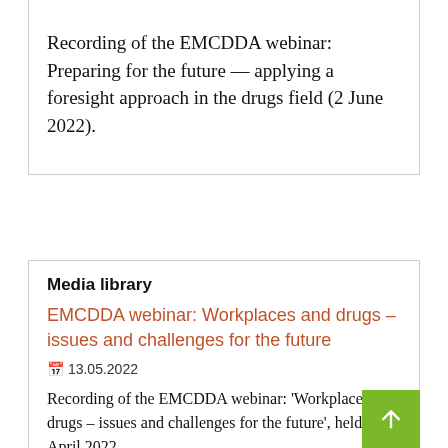Recording of the EMCDDA webinar: Preparing for the future — applying a foresight approach in the drugs field (2 June 2022).
Media library
EMCDDA webinar: Workplaces and drugs – issues and challenges for the future
🗓 13.05.2022
Recording of the EMCDDA webinar: 'Workplaces and drugs – issues and challenges for the future', held 28 April 2022.